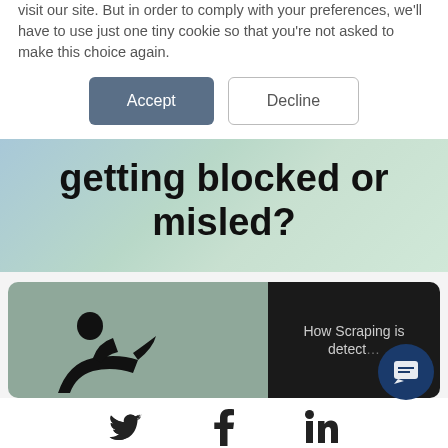visit our site. But in order to comply with your preferences, we'll have to use just one tiny cookie so that you're not asked to make this choice again.
[Figure (screenshot): Accept and Decline buttons for cookie consent]
getting blocked or misled?
[Figure (illustration): Card with muted green background showing a silhouette figure, next to a dark card reading 'How Scraping is detected']
[Figure (infographic): Social media icons: Twitter (bird), Facebook (f), LinkedIn (in)]